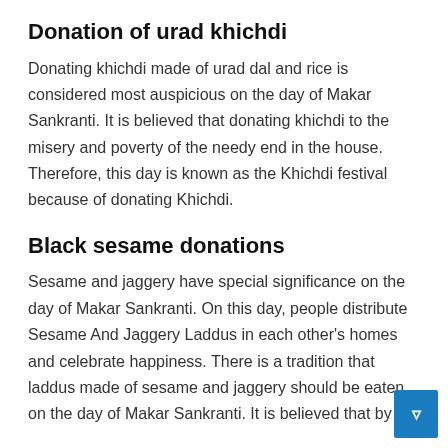Donation of urad khichdi
Donating khichdi made of urad dal and rice is considered most auspicious on the day of Makar Sankranti. It is believed that donating khichdi to the misery and poverty of the needy end in the house. Therefore, this day is known as the Khichdi festival because of donating Khichdi.
Black sesame donations
Sesame and jaggery have special significance on the day of Makar Sankranti. On this day, people distribute Sesame And Jaggery Laddus in each other's homes and celebrate happiness. There is a tradition that laddus made of sesame and jaggery should be eaten on the day of Makar Sankranti. It is believed that by